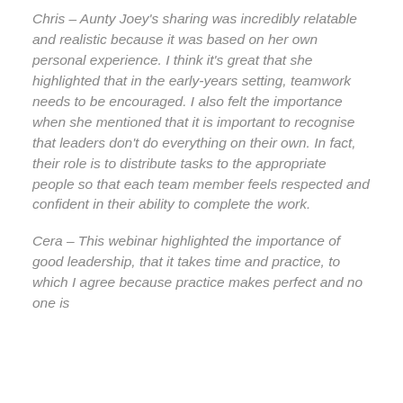Chris – Aunty Joey's sharing was incredibly relatable and realistic because it was based on her own personal experience. I think it's great that she highlighted that in the early-years setting, teamwork needs to be encouraged. I also felt the importance when she mentioned that it is important to recognise that leaders don't do everything on their own. In fact, their role is to distribute tasks to the appropriate people so that each team member feels respected and confident in their ability to complete the work.
Cera – This webinar highlighted the importance of good leadership, that it takes time and practice, to which I agree because practice makes perfect and no one is